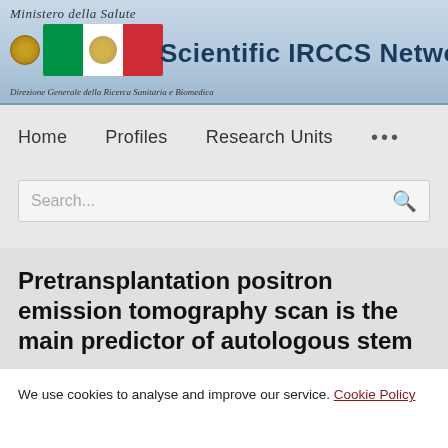Scientific IRCCS Network — Ministero della Salute — Direzione Generale della Ricerca Sanitaria e Biomedica
Home   Profiles   Research Units   ...
Search...
Pretransplantation positron emission tomography scan is the main predictor of autologous stem
We use cookies to analyse and improve our service. Cookie Policy